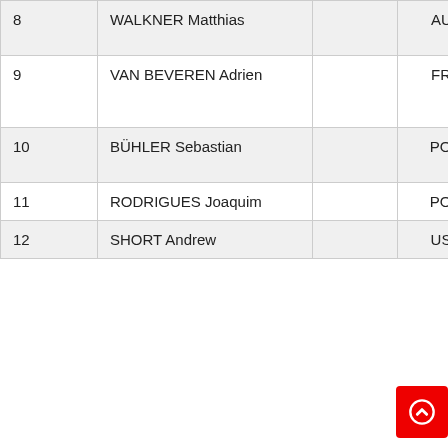| # | Name |  | Country | Team |
| --- | --- | --- | --- | --- |
| 8 | WALKNER Matthias |  | AUT | Red Bull KTM Factory Team |
| 9 | VAN BEVEREN Adrien |  | FRA | Monster Energy Yamaha Rally |
| 10 | BÜHLER Sebastian |  | POR | Hero Moto Team |
| 11 | RODRIGUES Joaquim |  | POR | Hero Moto T... |
| 12 | SHORT Andrew |  | USA | Mons... |